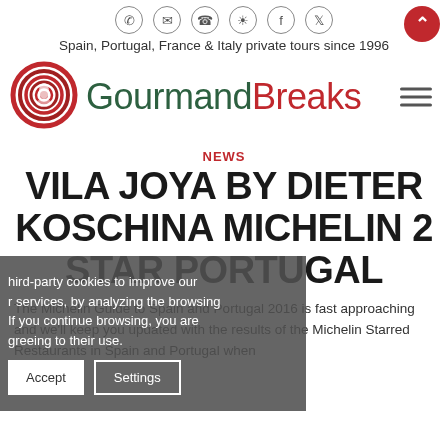[Figure (logo): Row of social/contact icon circles: phone, email, WhatsApp, Instagram, Facebook, Twitter. Red scroll-to-top button at right.]
Spain, Portugal, France & Italy private tours since 1996
[Figure (logo): GourmandBreaks logo: red spiral icon on left, text 'Gourmand' in dark green and 'Breaks' in red, hamburger menu icon at right.]
NEWS
VILA JOYA BY DIETER KOSCHINA MICHELIN 2 STAR PORTUGAL
[Figure (screenshot): Cookie consent overlay on lower-left: text about third-party services and browsing analysis, with Accept and Settings buttons.]
The Michelin Guide to Spain and Portugal 2016 is fast approaching and we'll keep you updated with the results of the Michelin Starred Restaurants in Spain and Portugal when